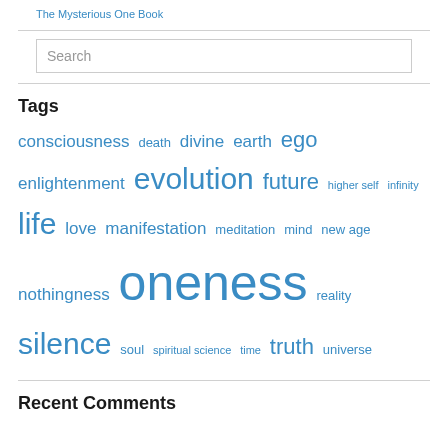The Mysterious One Book
Tags
consciousness death divine earth ego enlightenment evolution future higher self infinity life love manifestation meditation mind new age nothingness oneness reality silence soul spiritual science time truth universe
Recent Comments